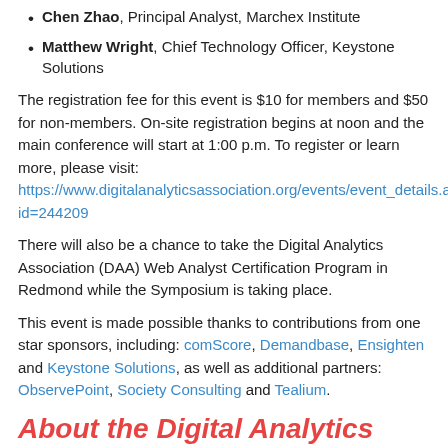Chen Zhao, Principal Analyst, Marchex Institute
Matthew Wright, Chief Technology Officer, Keystone Solutions
The registration fee for this event is $10 for members and $50 for non-members. On-site registration begins at noon and the main conference will start at 1:00 p.m. To register or learn more, please visit:
https://www.digitalanalyticsassociation.org/events/event_details.asp?id=244209
There will also be a chance to take the Digital Analytics Association (DAA) Web Analyst Certification Program in Redmond while the Symposium is taking place.
This event is made possible thanks to contributions from one star sponsors, including: comScore, Demandbase, Ensighten and Keystone Solutions, as well as additional partners: ObservePoint, Society Consulting and Tealium.
About the Digital Analytics